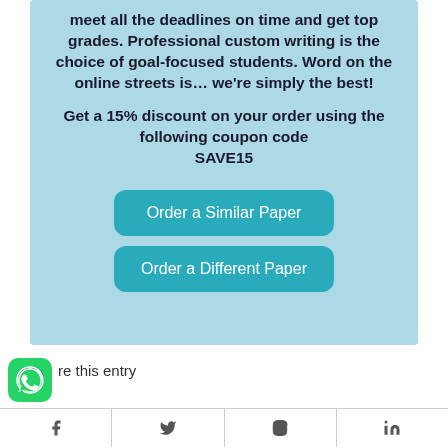meet all the deadlines on time and get top grades. Professional custom writing is the choice of goal-focused students. Word on the online streets is… we're simply the best!
Get a 15% discount on your order using the following coupon code SAVE15
Order a Similar Paper
Order a Different Paper
re this entry
[Figure (logo): WhatsApp green logo icon]